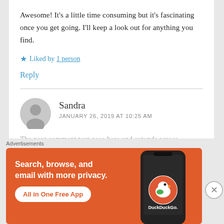Awesome! It's a little time consuming but it's fascinating once you get going. I'll keep a look out for anything you find.
★ Liked by 1 person
Reply
Sandra
JANUARY 26, 2019 AT 10:25 AM
[Figure (screenshot): DuckDuckGo advertisement banner with orange background. Text reads: Search, browse, and email with more privacy. All in One Free App. DuckDuckGo logo and phone illustration on right.]
Advertisements